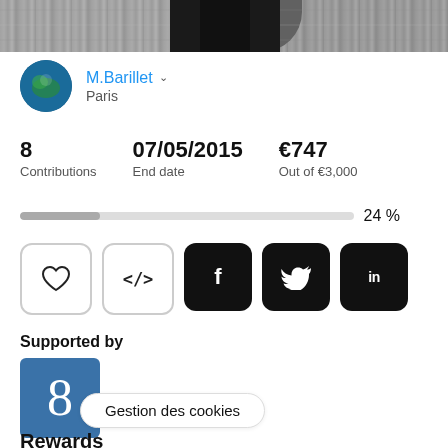[Figure (photo): Cropped black and white photo showing lower torso and legs of a person]
M.Barillet
Paris
8
Contributions
07/05/2015
End date
€747
Out of €3,000
24 %
Supported by
[Figure (other): Blue square badge with number 8 in white serif font]
Gestion des cookies
Rewards